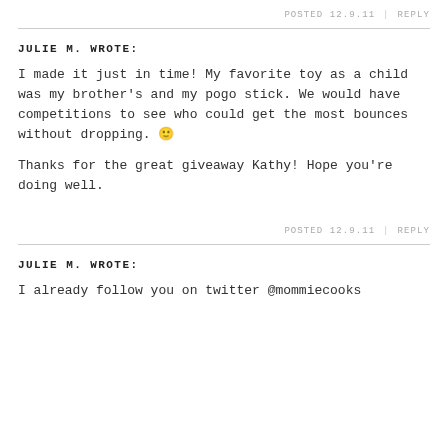POSTED 12.9.11 | REPLY
JULIE M. WROTE:
I made it just in time! My favorite toy as a child was my brother's and my pogo stick. We would have competitions to see who could get the most bounces without dropping. 🙂

Thanks for the great giveaway Kathy! Hope you're doing well.
POSTED 12.9.11 | REPLY
JULIE M. WROTE:
I already follow you on twitter @mommiecooks